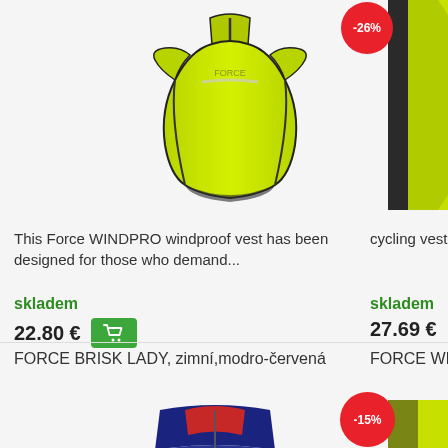[Figure (photo): Yellow-green Force WINDPRO windproof cycling vest, sleeveless, front view]
[Figure (photo): Partial view of yellow-green cycling vest on right side]
This Force WINDPRO windproof vest has been designed for those who demand...
cycling vest with part mesh - ver...
skladem
skladem
22.80 €
27.69 €
FORCE BRISK LADY, zimní,modro-červená
FORCE WINDPR...
[Figure (photo): Blue and red Force Brisk Lady winter cycling vest, partial view at bottom]
[Figure (photo): Yellow-green Force Windpr... partial view at bottom right]